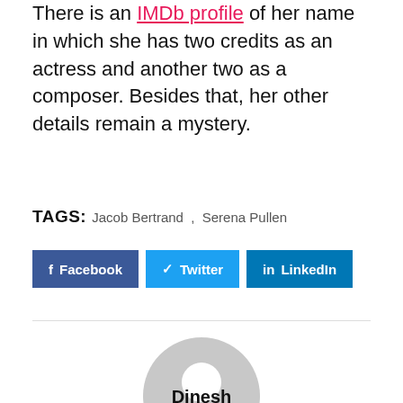There is an IMDb profile of her name in which she has two credits as an actress and another two as a composer. Besides that, her other details remain a mystery.
TAGS: Jacob Bertrand , Serena Pullen
[Figure (infographic): Social share buttons: Facebook (blue), Twitter (light blue), LinkedIn (dark blue)]
[Figure (illustration): Generic user avatar - grey circle silhouette with head and shoulders]
Dinesh